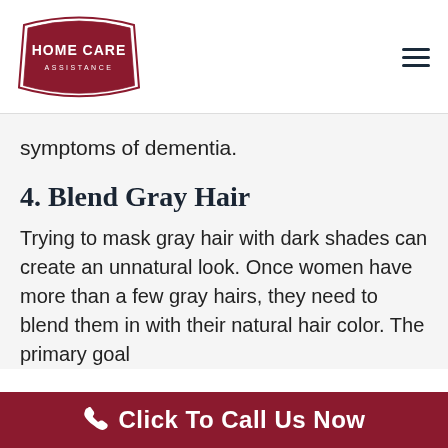HOME CARE ASSISTANCE
symptoms of dementia.
4. Blend Gray Hair
Trying to mask gray hair with dark shades can create an unnatural look. Once women have more than a few gray hairs, they need to blend them in with their natural hair color. The primary goal
Click To Call Us Now